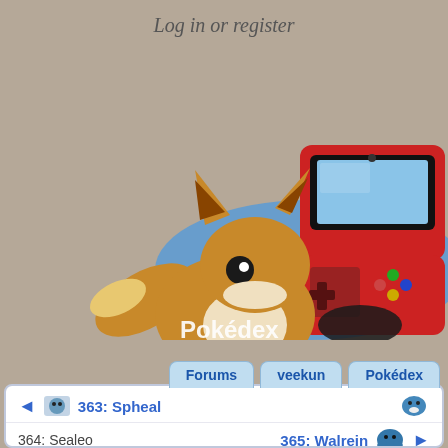Log in or register
[Figure (illustration): Eevee Pokemon character sitting in front of a red Nintendo DS gaming device, with a blue rounded card shape behind them. Shows a Pokedex search interface with label 'Pokedex', a help circle icon, a search input box, and a 'Look up' button.]
Forums | veekun | Pokédex
◄  363: Spheal  [sprite]  [sprite]
364: Sealeo    365: Walrein  [sprite]  ►
Pokédex | Flavor | Locations | Conquest
Essentials
Sealeo
Ball Roll Pokémon
Abilities